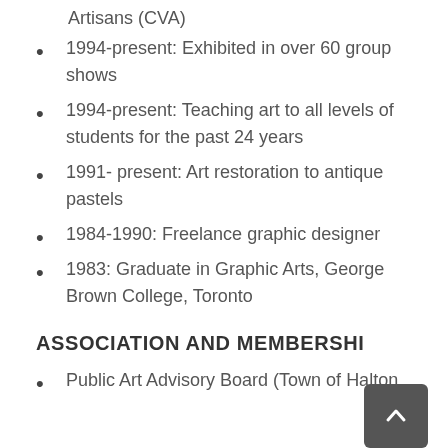Artisans (CVA)
1994-present: Exhibited in over 60 group shows
1994-present: Teaching art to all levels of students for the past 24 years
1991- present: Art restoration to antique pastels
1984-1990: Freelance graphic designer
1983: Graduate in Graphic Arts, George Brown College, Toronto
ASSOCIATION AND MEMBERSHIP
Public Art Advisory Board (Town of Halton